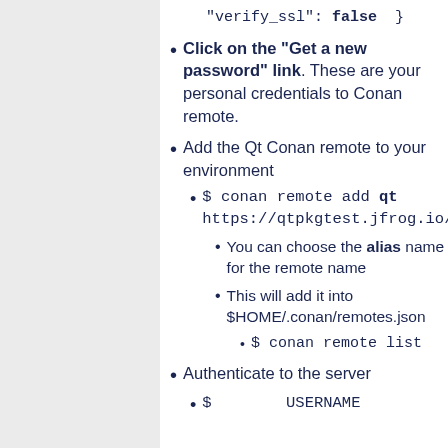"verify_ssl": false  }
Click on the "Get a new password" link. These are your personal credentials to Conan remote.
Add the Qt Conan remote to your environment
$ conan remote add qt https://qtpkgtest.jfrog.io/artifact
You can choose the alias name for the remote name
This will add it into $HOME/.conan/remotes.json
$ conan remote list
Authenticate to the server
$ ... USERNAME